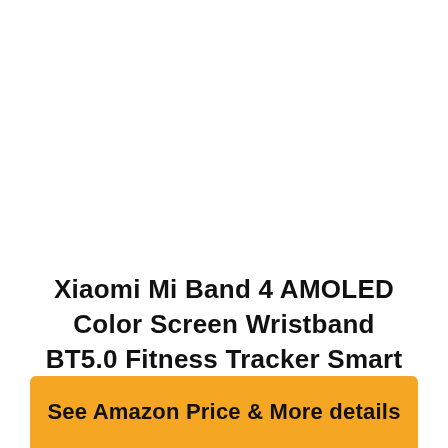Xiaomi Mi Band 4 AMOLED Color Screen Wristband BT5.0 Fitness Tracker Smart Wristbands (Black)
See Amazon Price & More details